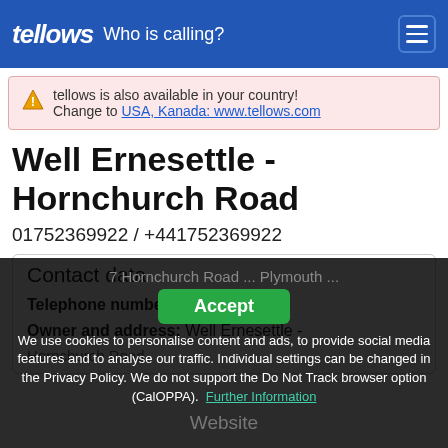tellows – Who is calling?
tellows is also available in your country! Change to USA, Kanada: www.tellows.com
Well Ernesettle - Hornchurch Road
01752369922 / +441752369922
Contact data
Telephone number: 01752369922
Owner and address: Well Ernesettle - Hornchurch Road
7 Hornchurch Road ... Plymouth ...
Website
We use cookies to personalise content and ads, to provide social media features and to analyse our traffic. Individual settings can be changed in the Privacy Policy. We do not support the Do Not Track browser option (CalOPPA). Further Information